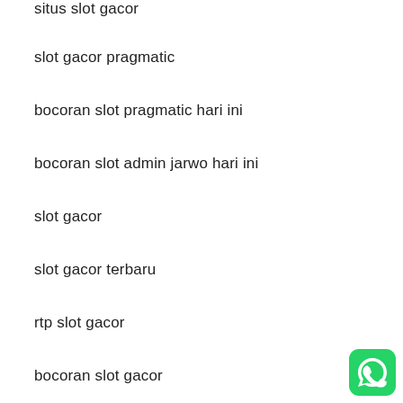situs slot gacor
slot gacor pragmatic
bocoran slot pragmatic hari ini
bocoran slot admin jarwo hari ini
slot gacor
slot gacor terbaru
rtp slot gacor
bocoran slot gacor
[Figure (logo): WhatsApp green rounded square logo icon in the bottom-right corner]